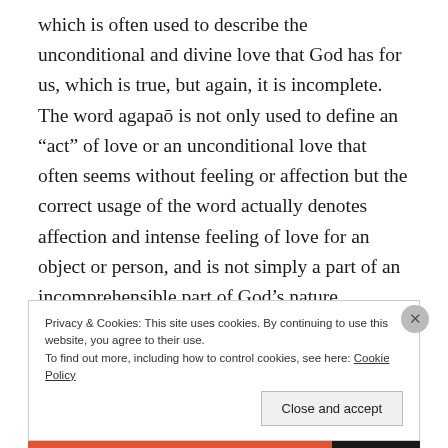which is often used to describe the unconditional and divine love that God has for us, which is true, but again, it is incomplete. The word agapaō is not only used to define an “act” of love or an unconditional love that often seems without feeling or affection but the correct usage of the word actually denotes affection and intense feeling of love for an object or person, and is not simply a part of an incomprehensible part of God’s nature.
Privacy & Cookies: This site uses cookies. By continuing to use this website, you agree to their use.
To find out more, including how to control cookies, see here: Cookie Policy